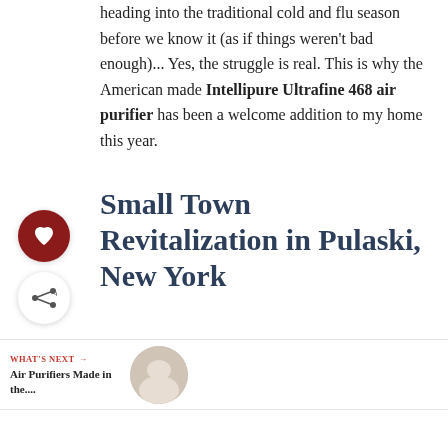heading into the traditional cold and flu season before we know it (as if things weren't bad enough)... Yes, the struggle is real. This is why the American made Intellipure Ultrafine 468 air purifier has been a welcome addition to my home this year.
Small Town Revitalization in Pulaski, New York
WHAT'S NEXT → Air Purifiers Made in the....